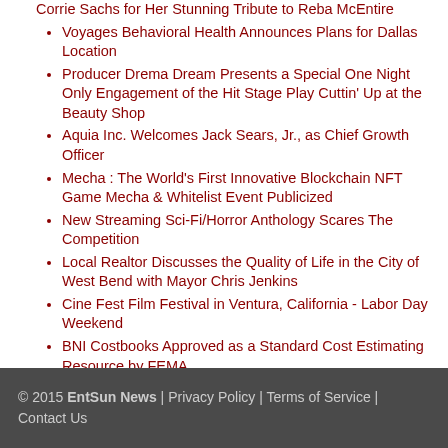Corrie Sachs for Her Stunning Tribute to Reba McEntire
Voyages Behavioral Health Announces Plans for Dallas Location
Producer Drema Dream Presents a Special One Night Only Engagement of the Hit Stage Play Cuttin' Up at the Beauty Shop
Aquia Inc. Welcomes Jack Sears, Jr., as Chief Growth Officer
Mecha : The World's First Innovative Blockchain NFT Game Mecha & Whitelist Event Publicized
New Streaming Sci-Fi/Horror Anthology Scares The Competition
Local Realtor Discusses the Quality of Life in the City of West Bend with Mayor Chris Jenkins
Cine Fest Film Festival in Ventura, California - Labor Day Weekend
BNI Costbooks Approved as a Standard Cost Estimating Resource by FEMA
Beautyforever Hair Brand Day Sale has started
Team of Two movie premiere in UCLA
© 2015 EntSun News | Privacy Policy | Terms of Service | Contact Us